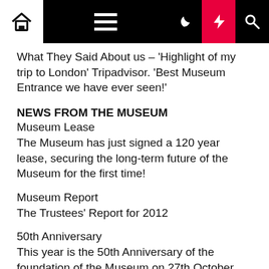Navigation bar with home, menu, moon, lightning, and search icons
What They Said About us – 'Highlight of my trip to London' Tripadvisor. 'Best Museum Entrance we have ever seen!'
NEWS FROM THE MUSEUM
Museum Lease
The Museum has just signed a 120 year lease, securing the long-term future of the Museum for the first time!
Museum Report
The Trustees' Report for 2012
50th Anniversary
This year is the 50th Anniversary of the foundation of the Museum on 27th October 1962. Click here for information